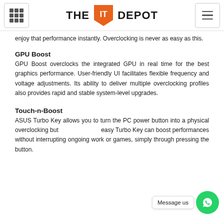THE IT DEPOT
enjoy that performance instantly. Overclocking is never as easy as this.
GPU Boost
GPU Boost overclocks the integrated GPU in real time for the best graphics performance. User-friendly UI facilitates flexible frequency and voltage adjustments. Its ability to deliver multiple overclocking profiles also provides rapid and stable system-level upgrades.
Touch-n-Boost
ASUS Turbo Key allows you to turn the PC power button into a physical overclocking but easy Turbo Key can boost performances without interrupting ongoing work or games, simply through pressing the button.